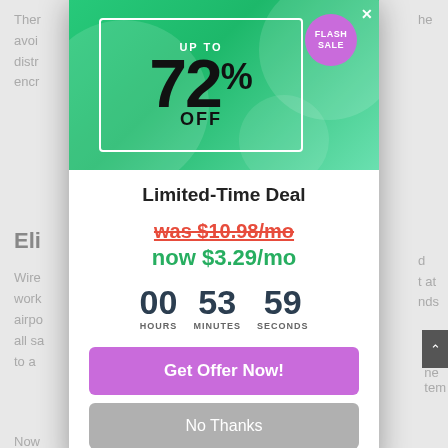[Figure (infographic): Promotional popup banner with green gradient background, decorative circles, white border box, 'UP TO 72% OFF' text in large bold font, and a purple 'FLASH SALE' circular badge in the top right corner.]
Limited-Time Deal
was $10.98/mo
now $3.29/mo
00 HOURS  53 MINUTES  59 SECONDS
Get Offer Now!
No Thanks